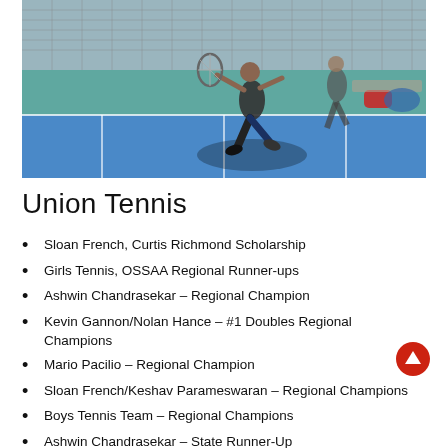[Figure (photo): Tennis player mid-stride on a blue outdoor tennis court, reaching for a shot, with another player and equipment bags visible in the background]
Union Tennis
Sloan French, Curtis Richmond Scholarship
Girls Tennis, OSSAA Regional Runner-ups
Ashwin Chandrasekar – Regional Champion
Kevin Gannon/Nolan Hance – #1 Doubles Regional Champions
Mario Pacilio – Regional Champion
Sloan French/Keshav Parameswaran – Regional Champions
Boys Tennis Team – Regional Champions
Ashwin Chandrasekar – State Runner-Up